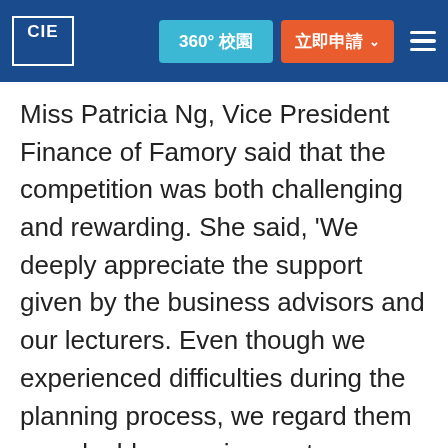CIE | 360° 校園 | 立即申請
Miss Patricia Ng, Vice President Finance of Famory said that the competition was both challenging and rewarding. She said, 'We deeply appreciate the support given by the business advisors and our lecturers. Even though we experienced difficulties during the planning process, we regard them as valuable experiences to prepare ourselves for meeting future challenges in the workplace'.